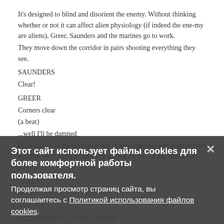It's designed to blind and disorient the enemy. Without thinking whether or not it can affect alien physiology (if indeed the ene-my are aliens), Greer, Saunders and the marines go to work.
They move down the corridor in pairs shooting everything they see.
SAUNDERS
Clear!
GREER
Corners clear
(a beat)
...well I'll be damned
He walks up to the corpse of one of their enemies and prods it with his rifle. POV turns around and we see it's one of the 'blueberry' aliens.
GREER
Sec... To...
CUT TO:
INT. DESTINY - STONES ROOM
Chloe and Wray are here together. Chloe is looking out the window at the planet below.
CHLOE
It worked.
Этот сайт использует файлы cookies для более комфортной работы пользователя. Продолжая просмотр страниц сайта, вы соглашаетесь с Политикой использования файлов cookies.
СОГЛАСИТЬСЯ